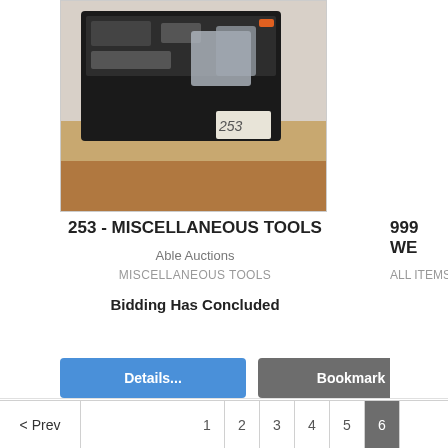[Figure (photo): Photo of miscellaneous tools in a black case on a table, with label 253]
253 - MISCELLANEOUS TOOLS
Able Auctions
MISCELLANEOUS TOOLS
Bidding Has Concluded
Details...
Bookmark
999
WE
ALL ITEMS M
< Prev  1  2  3  4  5  6